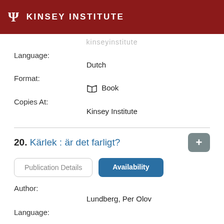KINSEY INSTITUTE
Language:
Dutch
Format:
Book
Copies At:
Kinsey Institute
20. Kärlek : är det farligt?
Publication Details
Availability
Author:
Lundberg, Per Olov
Language: